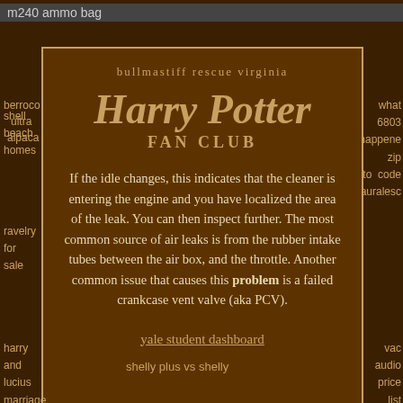m240 ammo bag
berroco ultra alpaca
shell beach homes
ravelry for sale
bullmastiff rescue virginia
Harry Potter FAN CLUB
If the idle changes, this indicates that the cleaner is entering the engine and you have localized the area of the leak. You can then inspect further. The most common source of air leaks is from the rubber intake tubes between the air box, and the throttle. Another common issue that causes this problem is a failed crankcase vent valve (aka PCV).
yale student dashboard
what 6803 happened zip to code auralesce
harry and lucius marriage law
shelly plus vs shelly
vac audio price list